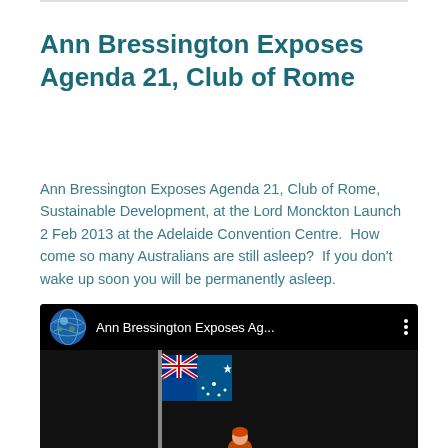Ann Bressington Exposes Agenda 21, Club of Rome
Ann Bressington Exposes Agenda 21, Club of Rome, Sustainable Development, at the Lord Monckton Launch 2 Feb 2013 at the Adelaide Convention Centre.  How come so many Australians are still asleep?  If you don't wake up soon you will be permanently asleep.
[Figure (screenshot): YouTube video thumbnail showing 'Ann Bressington Exposes Ag...' with a globe icon, Australian flag, and a figure at the bottom, on a black background with a video top bar.]